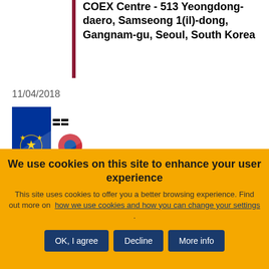COEX Centre - 513 Yeongdong-daero, Samseong 1(il)-dong, Gangnam-gu, Seoul, South Korea
11/04/2018
[Figure (illustration): Event cover image for the 6th meeting of the EU-Korea Civil Society Forum under the EU-Korea Free Trade Agreement, 11 April 2018, Seoul, South Korea. Shows EU and South Korean flags.]
We use cookies on this site to enhance your user experience
This site uses cookies to offer you a better browsing experience. Find out more on how we use cookies and how you can change your settings .
OK, I agree
Decline
More info